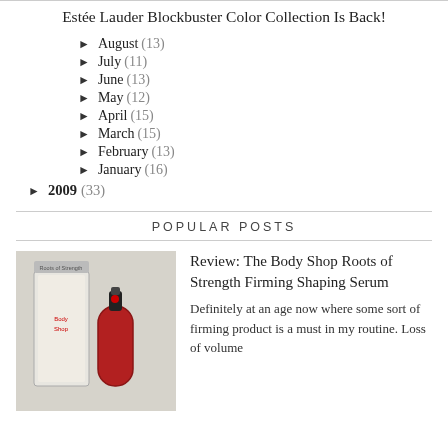Estée Lauder Blockbuster Color Collection Is Back!
► August (13)
► July (11)
► June (13)
► May (12)
► April (15)
► March (15)
► February (13)
► January (16)
► 2009 (33)
POPULAR POSTS
[Figure (photo): Photo of The Body Shop Roots of Strength Firming Shaping Serum product bottle and box on white background]
Review: The Body Shop Roots of Strength Firming Shaping Serum
Definitely at an age now where some sort of firming product is a must in my routine. Loss of volume